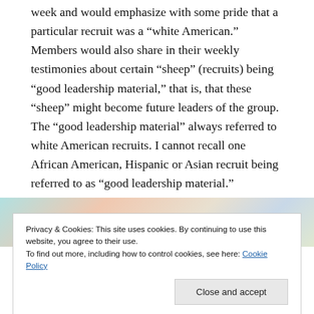week and would emphasize with some pride that a particular recruit was a “white American.” Members would also share in their weekly testimonies about certain “sheep” (recruits) being “good leadership material,” that is, that these “sheep” might become future leaders of the group. The “good leadership material” always referred to white American recruits. I cannot recall one African American, Hispanic or Asian recruit being referred to as “good leadership material.”
[Figure (photo): Partial image strip visible behind the cookie banner, showing a colorful background with teal, peach and muted tones.]
Privacy & Cookies: This site uses cookies. By continuing to use this website, you agree to their use.
To find out more, including how to control cookies, see here: Cookie Policy
Close and accept